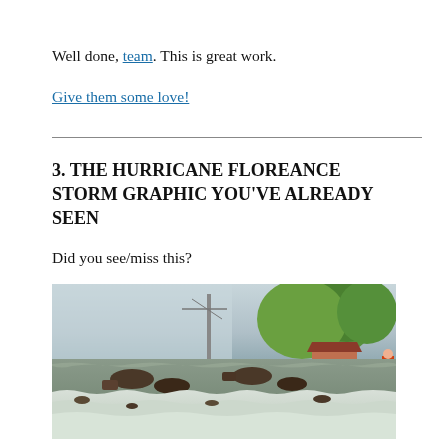Well done, team. This is great work.
Give them some love!
3. THE HURRICANE FLOREANCE STORM GRAPHIC YOU'VE ALREADY SEEN
Did you see/miss this?
[Figure (photo): Flood scene showing churning floodwaters with debris floating in a street, green trees and a house visible on the right, misty stormy sky on the left.]